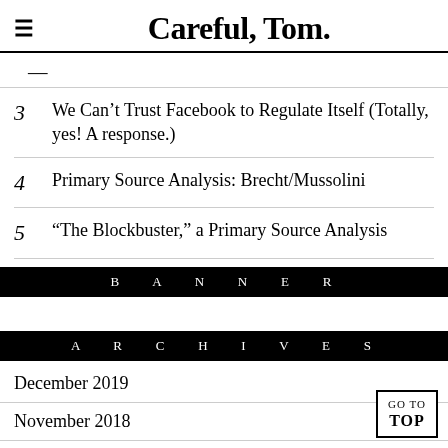Careful, Tom.
3  We Can't Trust Facebook to Regulate Itself (Totally, yes! A response.)
4  Primary Source Analysis: Brecht/Mussolini
5  “The Blockbuster,” a Primary Source Analysis
BANNER
ARCHIVES
December 2019
November 2018
June 2018